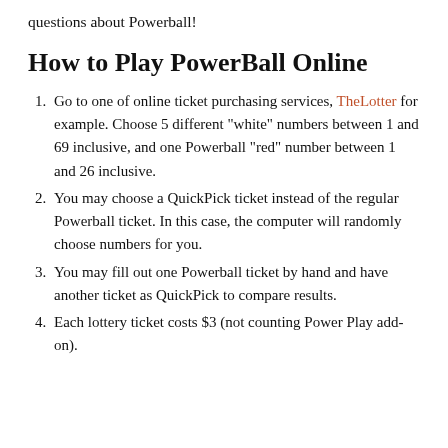questions about Powerball!
How to Play PowerBall Online
Go to one of online ticket purchasing services, TheLotter for example. Choose 5 different “white” numbers between 1 and 69 inclusive, and one Powerball “red” number between 1 and 26 inclusive.
You may choose a QuickPick ticket instead of the regular Powerball ticket. In this case, the computer will randomly choose numbers for you.
You may fill out one Powerball ticket by hand and have another ticket as QuickPick to compare results.
Each lottery ticket costs $3 (not counting Power Play add-on).